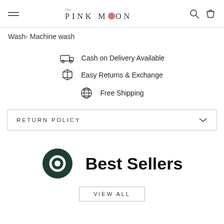THE PINK MOON
Wash- Machine wash
Cash on Delivery Available
Easy Returns & Exchange
Free Shipping
RETURN POLICY
Best Sellers
VIEW ALL